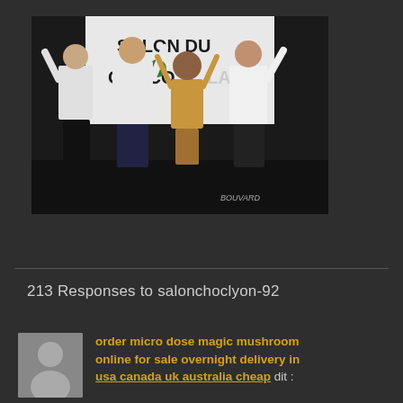[Figure (photo): Four people on a stage in front of a 'Salon du Chocolat' banner. Two people in white chef coats on the left, one person in an ornate costume in the center, and one person in black and white outfit on the right. All have arms raised. A BOUVARD watermark is visible in the lower right corner.]
213 Responses to salonchoclyon-92
[Figure (photo): Gray avatar/profile placeholder icon showing a silhouette of a person]
order micro dose magic mushroom online for sale overnight delivery in usa canada uk australia cheap dit :